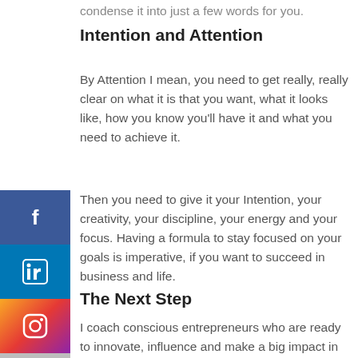condense it into just a few words for you.
Intention and Attention
By Attention I mean, you need to get really, really clear on what it is that you want, what it looks like, how you know you'll have it and what you need to achieve it.
Then you need to give it your Intention, your creativity, your discipline, your energy and your focus. Having a formula to stay focused on your goals is imperative, if you want to succeed in business and life.
The Next Step
I coach conscious entrepreneurs who are ready to innovate, influence and make a big impact in the world but struggle to perform at their peak.